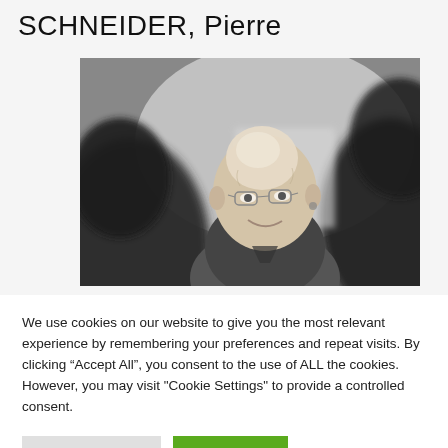SCHNEIDER, Pierre
[Figure (photo): Black and white portrait photo of an elderly man smiling, wearing glasses, surrounded by blurred figures on either side]
We use cookies on our website to give you the most relevant experience by remembering your preferences and repeat visits. By clicking “Accept All”, you consent to the use of ALL the cookies. However, you may visit "Cookie Settings" to provide a controlled consent.
Cookie Settings | Accept All